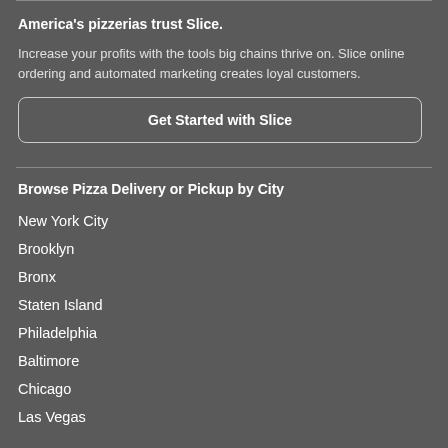America's pizzerias trust Slice.
Increase your profits with the tools big chains thrive on. Slice online ordering and automated marketing creates loyal customers.
Get Started with Slice
Browse Pizza Delivery or Pickup by City
New York City
Brooklyn
Bronx
Staten Island
Philadelphia
Baltimore
Chicago
Las Vegas